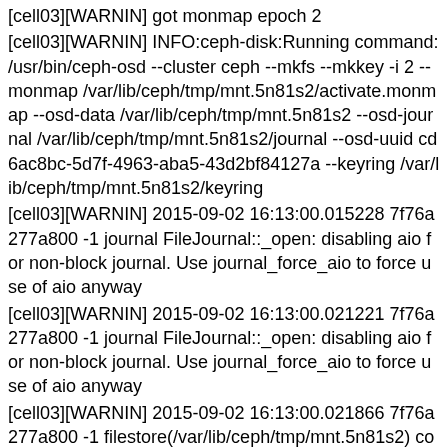[cell03][WARNIN] got monmap epoch 2
[cell03][WARNIN] INFO:ceph-disk:Running command: /usr/bin/ceph-osd --cluster ceph --mkfs --mkkey -i 2 --monmap /var/lib/ceph/tmp/mnt.5n81s2/activate.monmap --osd-data /var/lib/ceph/tmp/mnt.5n81s2 --osd-journal /var/lib/ceph/tmp/mnt.5n81s2/journal --osd-uuid cd6ac8bc-5d7f-4963-aba5-43d2bf84127a --keyring /var/lib/ceph/tmp/mnt.5n81s2/keyring
[cell03][WARNIN] 2015-09-02 16:13:00.015228 7f76a277a800 -1 journal FileJournal::_open: disabling aio for non-block journal. Use journal_force_aio to force use of aio anyway
[cell03][WARNIN] 2015-09-02 16:13:00.021221 7f76a277a800 -1 journal FileJournal::_open: disabling aio for non-block journal. Use journal_force_aio to force use of aio anyway
[cell03][WARNIN] 2015-09-02 16:13:00.021866 7f76a277a800 -1 filestore(/var/lib/ceph/tmp/mnt.5n81s2) could not find 23c2fcde/osd_superblock/0//-1 in index: (2) No such file or directory
[cell03][WARNIN] 2015-09-02 16:13:00.049203 7f76a277a800 -1 created object store /var/lib/ceph/tmp/mnt.5n81s2 j